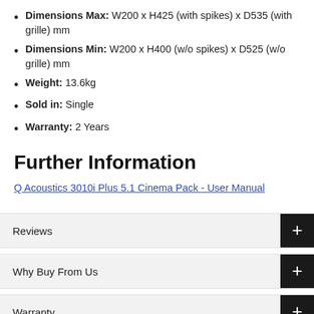Dimensions Max: W200 x H425 (with spikes) x D535 (with grille) mm
Dimensions Min: W200 x H400 (w/o spikes) x D525 (w/o grille) mm
Weight: 13.6kg
Sold in: Single
Warranty: 2 Years
Further Information
Q Acoustics 3010i Plus 5.1 Cinema Pack - User Manual
Reviews
Why Buy From Us
Warranty